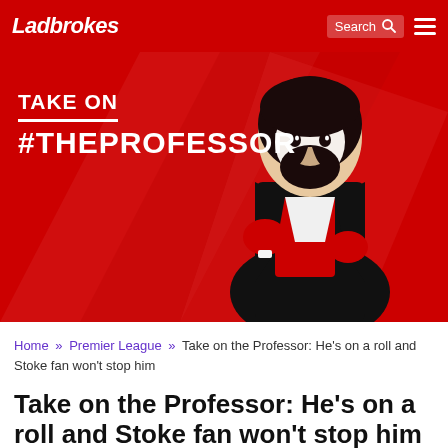Ladbrokes
[Figure (illustration): Ladbrokes 'Take on #TheProfessor' promotional banner. Red background with diagonal geometric shapes. A stylized illustration of a bearded man in a black suit with red gloves, posed dramatically. Bold white text reads 'TAKE ON #THEPROFESSOR'.]
Home » Premier League » Take on the Professor: He's on a roll and Stoke fan won't stop him
Take on the Professor: He's on a roll and Stoke fan won't stop him